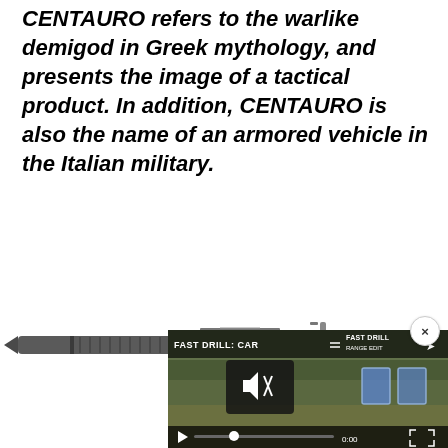CENTAURO refers to the warlike demigod in Greek mythology, and presents the image of a tactical product. In addition, CENTAURO is also the name of an armored vehicle in the Italian military.
[Figure (photo): A tactical pen (CENTAURO) shown horizontally against a white background, with a metallic grey/dark finish and clip]
[Figure (screenshot): A video player overlay showing a Fast Drill video with title 'FAST DRILL: CAR...' with mute button, play button, progress bar at 0:00, and two blue shooting targets visible on an outdoor range background]